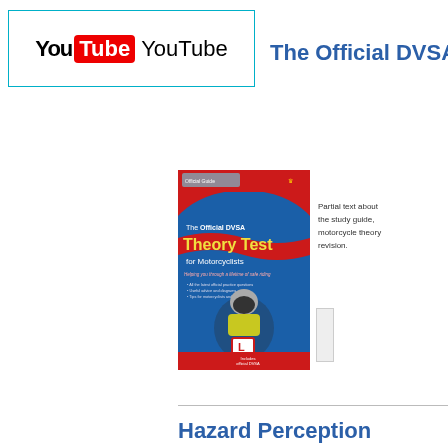[Figure (logo): YouTube logo inside a teal/cyan bordered rectangle box]
The Official DVSA The
[Figure (photo): Book cover: The Official DVSA Theory Test for Motorcyclists - showing a motorcyclist on the cover, red and blue design]
Partial text block to the right of the book image describing the product
Hazard Perception
[Figure (screenshot): Back to Top button overlay and L-plate image partially visible at bottom]